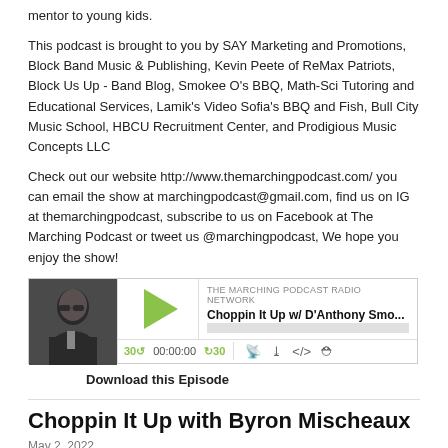mentor to young kids.
This podcast is brought to you by SAY Marketing and Promotions, Block Band Music & Publishing, Kevin Peete of ReMax Patriots, Block Us Up - Band Blog, Smokee O's BBQ, Math-Sci Tutoring and Educational Services, Lamik's Video Sofia's BBQ and Fish, Bull City Music School, HBCU Recruitment Center, and Prodigious Music Concepts LLC
Check out our website http://www.themarchingpodcast.com/ you can email the show at marchingpodcast@gmail.com, find us on IG at themarchingpodcast, subscribe to us on Facebook at The Marching Podcast or tweet us @marchingpodcast, We hope you enjoy the show!
[Figure (other): Podcast player widget for 'Choppin It Up w/ D'Anthony Smo...' on The Marching Podcast Radio Network, showing a photo of a man wearing sunglasses, a play button, progress bar, time display 00:00:00, and media control icons.]
Download this Episode
Choppin It Up with Byron Mischeaux
May 2, 2022
Welcome to the 2022 season of Choppin It Up - today we talk to Byron